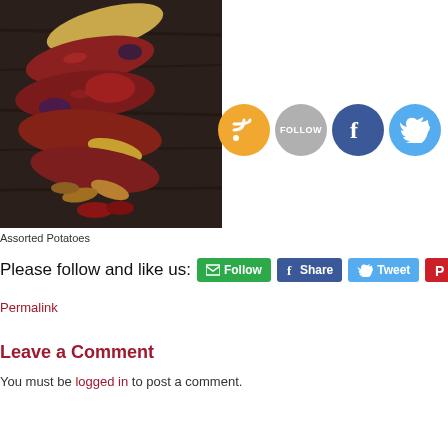[Figure (photo): Overhead photo of assorted colorful potatoes arranged on a dark wooden surface, including red, purple, yellow, and mixed variety potatoes.]
[Figure (infographic): Four social media circle buttons: RSS (orange), Follow (gray), Facebook (dark blue), Twitter (light blue)]
Assorted Potatoes
Please follow and like us:
[Figure (infographic): Social sharing buttons: Follow (green), Share on Facebook (blue), Tweet (blue), Pinterest (red)]
Permalink
Leave a Comment
You must be logged in to post a comment.